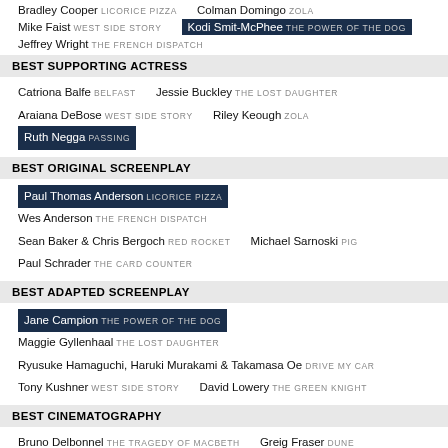Bradley Cooper LICORICE PIZZA   Colman Domingo ZOLA
Mike Faist WEST SIDE STORY   Kodi Smit-McPhee THE POWER OF THE DOG [winner]
Jeffrey Wright THE FRENCH DISPATCH
BEST SUPPORTING ACTRESS
Catriona Balfe BELFAST   Jessie Buckley THE LOST DAUGHTER
Araiana DeBose WEST SIDE STORY   Riley Keough ZOLA   Ruth Negga PASSING [winner]
BEST ORIGINAL SCREENPLAY
Paul Thomas Anderson LICORICE PIZZA [winner]   Wes Anderson THE FRENCH DISPATCH
Sean Baker & Chris Bergoch RED ROCKET   Michael Sarnoski PIG
Paul Schrader THE CARD COUNTER
BEST ADAPTED SCREENPLAY
Jane Campion THE POWER OF THE DOG [winner]   Maggie Gyllenhaal THE LOST DAUGHTER
Ryusuke Hamaguchi, Haruki Murakami & Takamasa Oe DRIVE MY CAR
Tony Kushner WEST SIDE STORY   David Lowery THE GREEN KNIGHT
BEST CINEMATOGRAPHY
Bruno Delbonnel THE TRAGEDY OF MACBETH   Greig Fraser DUNE
Janusz Kaminski WEST SIDE STORY   Andrew Droz Palermo THE GREEN KNIGHT
Ari Wegner THE POWER OF THE DOG [winner]